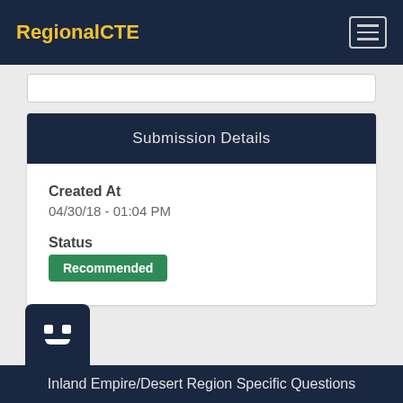RegionalCTE
Submission Details
Created At
04/30/18 - 01:04 PM
Status
Recommended
Inland Empire/Desert Region Specific Questions